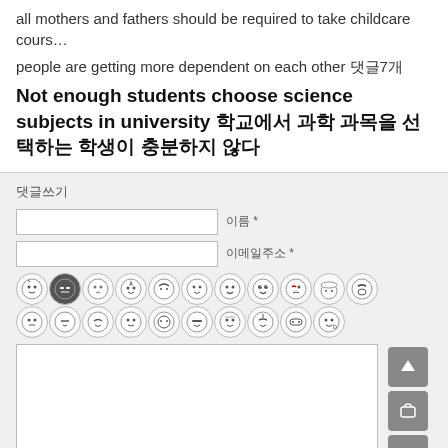all mothers and fathers should be required to take childcare cours…
people are getting more dependent on each other 댓글7개
Not enough students choose science subjects in university 학교에서 과학 과목을 선택하는 학생이 충분하지 않다
댓글쓰기
[Figure (screenshot): Comment form with name and email input fields, emoji selector row, text area, navigation buttons, and submit/reset buttons]
댓글쓰기 / 취소